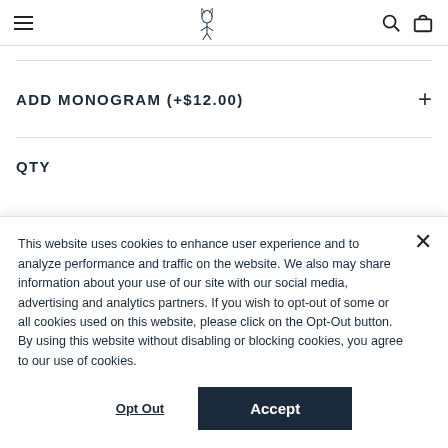Navigation header with hamburger menu, logo, search and bag icons
ADD MONOGRAM (+$12.00)
QTY
This website uses cookies to enhance user experience and to analyze performance and traffic on the website. We also may share information about your use of our site with our social media, advertising and analytics partners. If you wish to opt-out of some or all cookies used on this website, please click on the Opt-Out button. By using this website without disabling or blocking cookies, you agree to our use of cookies.
Opt Out
Accept